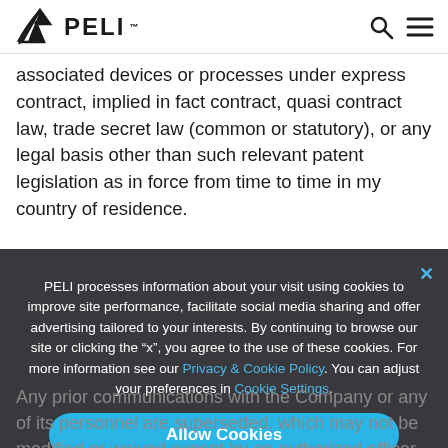PELI
associated devices or processes under express contract, implied in fact contract, quasi contract law, trade secret law (common or statutory), or any legal basis other than such relevant patent legislation as in force from time to time in my country of residence.
PELI processes information about your visit using cookies to improve site performance, facilitate social media sharing and offer advertising tailored to your interests. By continuing to browse our site or clicking the “x”, you agree to the use of these cookies. For more information see our Privacy & Cookie Policy. You can adjust your preferences in Cookie Settings.
Any prior communications with the Company or any of its personnel are superseded, which may not be modified or waived except by an authorized officer of the Company and notified to me. If any